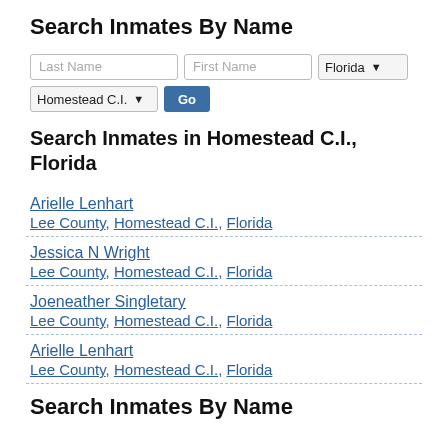Search Inmates By Name
Last Name | First Name | Florida | Homestead C.I. | Go
Search Inmates in Homestead C.I., Florida
Arielle Lenhart
Lee County, Homestead C.I., Florida
Jessica N Wright
Lee County, Homestead C.I., Florida
Joeneather Singletary
Lee County, Homestead C.I., Florida
Arielle Lenhart
Lee County, Homestead C.I., Florida
Search Inmates By Name